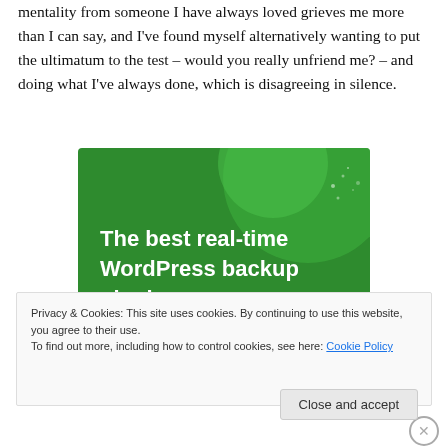mentality from someone I have always loved grieves me more than I can say, and I've found myself alternatively wanting to put the ultimatum to the test – would you really unfriend me? – and doing what I've always done, which is disagreeing in silence.
[Figure (illustration): Green advertisement banner reading 'The best real-time WordPress backup plugin' with decorative circular shapes on a green background.]
Privacy & Cookies: This site uses cookies. By continuing to use this website, you agree to their use.
To find out more, including how to control cookies, see here: Cookie Policy
Close and accept